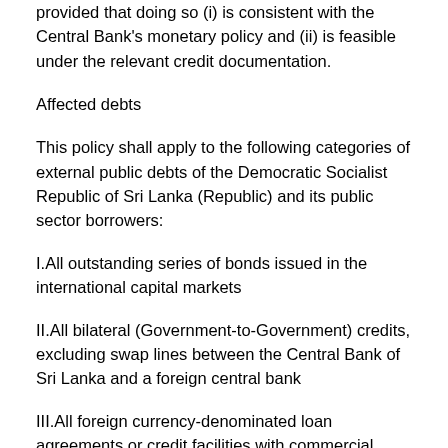provided that doing so (i) is consistent with the Central Bank's monetary policy and (ii) is feasible under the relevant credit documentation.
Affected debts
This policy shall apply to the following categories of external public debts of the Democratic Socialist Republic of Sri Lanka (Republic) and its public sector borrowers:
I.All outstanding series of bonds issued in the international capital markets
II.All bilateral (Government-to-Government) credits, excluding swap lines between the Central Bank of Sri Lanka and a foreign central bank
III.All foreign currency-denominated loan agreements or credit facilities with commercial banks or institutional lenders (including such institutions owned/controlled by